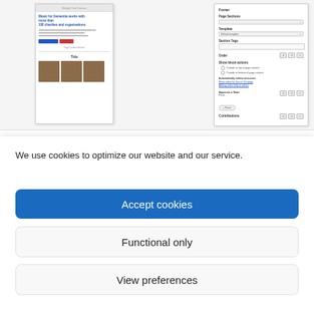[Figure (screenshot): Website editor interface showing a left preview panel with a charity/dementia website and a right settings/configuration sidebar panel with dropdowns, inputs, radio buttons and toggle options.]
We use cookies to optimize our website and our service.
Accept cookies
Functional only
View preferences